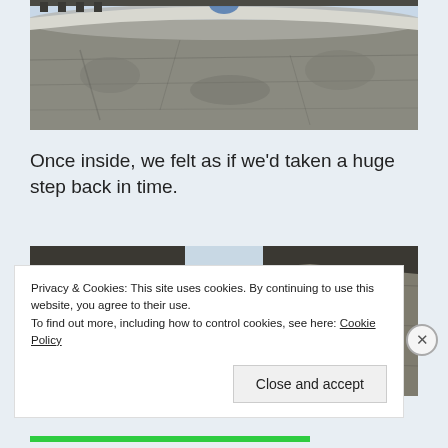[Figure (photo): Close-up photograph of an ancient stone wall with curved architecture, taken from below looking up. The stone surface is rough and weathered, with a white decorative band visible near the top and a partial view of what appears to be a heraldic symbol.]
Once inside, we felt as if we'd taken a huge step back in time.
[Figure (photo): Photograph looking up between two ancient stone buildings. The walls are rough stone on both sides with a narrow strip of pale sky visible between them. A wooden window or door frame is visible on the left building.]
Privacy & Cookies: This site uses cookies. By continuing to use this website, you agree to their use.
To find out more, including how to control cookies, see here: Cookie Policy
Close and accept